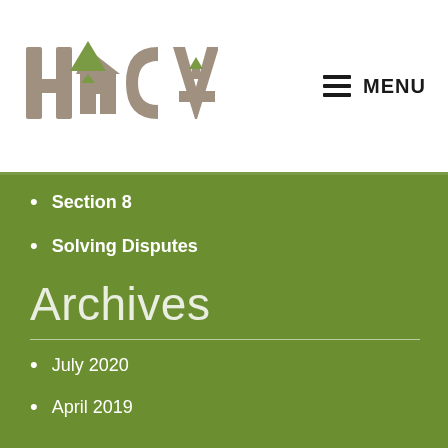[Figure (logo): HACA logo with stylized letter H, house icon, C, and A in grey and green colors]
MENU
Section 8
Solving Disputes
Archives
July 2020
April 2019